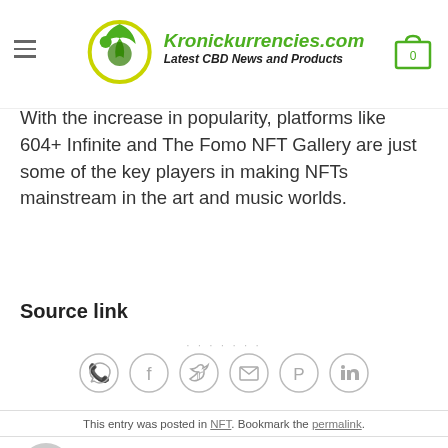Kronickurrencies.com — Latest CBD News and Products
collection each month.
With the increase in popularity, platforms like 604+ Infinite and The Fomo NFT Gallery are just some of the key players in making NFTs mainstream in the art and music worlds.
Source link
[Figure (infographic): Social share icons: WhatsApp, Facebook, Twitter, Email, Pinterest, LinkedIn — circle outline buttons]
This entry was posted in NFT. Bookmark the permalink.
ADMIN